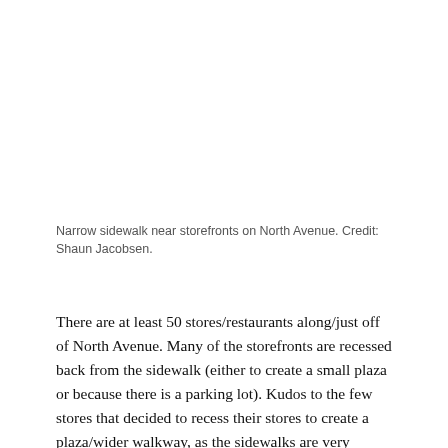Narrow sidewalk near storefronts on North Avenue. Credit: Shaun Jacobsen.
There are at least 50 stores/restaurants along/just off of North Avenue. Many of the storefronts are recessed back from the sidewalk (either to create a small plaza or because there is a parking lot). Kudos to the few stores that decided to recess their stores to create a plaza/wider walkway, as the sidewalks are very narrow and the existing street furniture (where it actually exists) doesn’t do much to make pedestrians feel safe from fast-moving traffic on